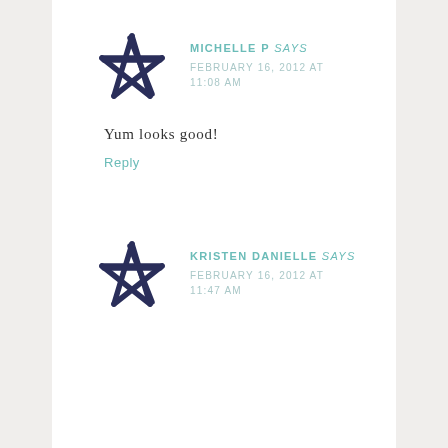[Figure (illustration): Dark navy hand-drawn star/asterisk icon used as avatar for commenter Michelle P]
MICHELLE P says
FEBRUARY 16, 2012 AT 11:08 AM
Yum looks good!
Reply
[Figure (illustration): Dark navy hand-drawn star/asterisk icon used as avatar for commenter Kristen Danielle]
KRISTEN DANIELLE says
FEBRUARY 16, 2012 AT 11:47 AM